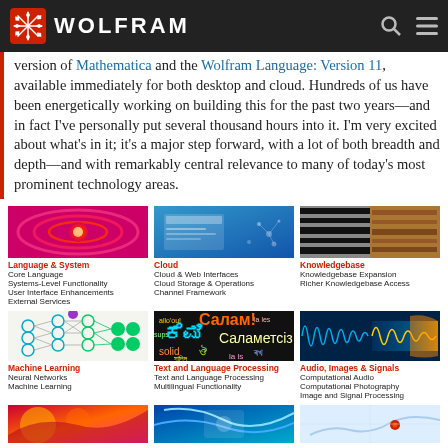WOLFRAM
version of Mathematica and the Wolfram Language: Version 11, available immediately for both desktop and cloud. Hundreds of us have been energetically working on building this for the past two years—and in fact I've personally put several thousand hours into it. I'm very excited about what's in it; it's a major step forward, with a lot of both breadth and depth—and with remarkably central relevance to many of today's most prominent technology areas.
[Figure (illustration): Language & System – red swirl graphic]
[Figure (screenshot): Cloud – blue cloud interface graphic]
[Figure (illustration): Knowledgebase – zebra pattern graphic]
Language & System
Core Language
Systems-Level Functionality
User Interface Enhancements
External Services
Cloud
Cloud & Web Interfaces
Cloud Storage & Operations
Channel Framework
Knowledgebase
Knowledgebase Expansion
Richer Knowledgebase Access
[Figure (illustration): Machine Learning – neural network diagram]
[Figure (illustration): Text and Language Processing – multilingual word cloud]
[Figure (illustration): Audio, Images & Signals – waveform graphic]
Machine Learning
Neural Networks
Machine Learning
Text and Language Processing
Text and Language Processing
Multilingual Functionality
Audio, Images & Signals
Computational Audio
Computational Photography
Image and Signal Processing
[Figure (illustration): Bottom row partial image 1]
[Figure (illustration): Bottom row partial image 2]
[Figure (illustration): Bottom row partial image 3]